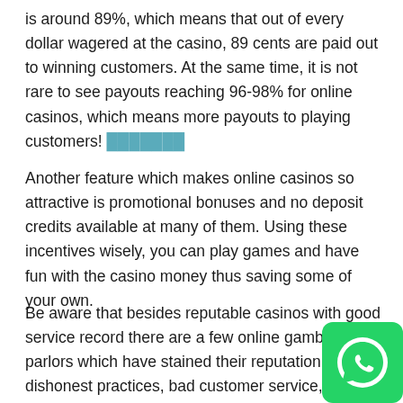is around 89%, which means that out of every dollar wagered at the casino, 89 cents are paid out to winning customers. At the same time, it is not rare to see payouts reaching 96-98% for online casinos, which means more payouts to playing customers! [link text]
Another feature which makes online casinos so attractive is promotional bonuses and no deposit credits available at many of them. Using these incentives wisely, you can play games and have fun with the casino money thus saving some of your own.
Be aware that besides reputable casinos with good service record there are a few online gambling parlors which have stained their reputation by dishonest practices, bad customer service, and slow payouts. You will be asked for your personal information before you are allowed to play on and you want to make sure that your personal data is protected by the casino. Therefore, it is very important first
[Figure (other): WhatsApp contact button (green rounded square icon with WhatsApp logo)]